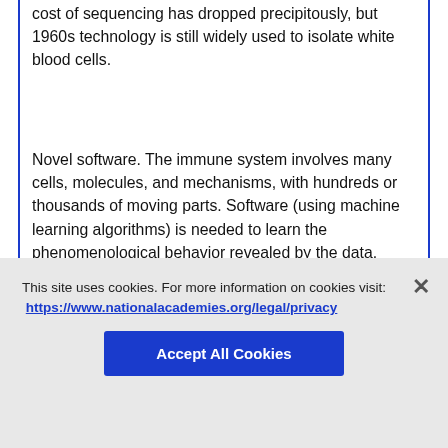cost of sequencing has dropped precipitously, but 1960s technology is still widely used to isolate white blood cells.
Novel software. The immune system involves many cells, molecules, and mechanisms, with hundreds or thousands of moving parts. Software (using machine learning algorithms) is needed to learn the phenomenological behavior revealed by the data.
New research approaches. Determination of the correlates of T cell protection from…
This site uses cookies. For more information on cookies visit: https://www.nationalacademies.org/legal/privacy